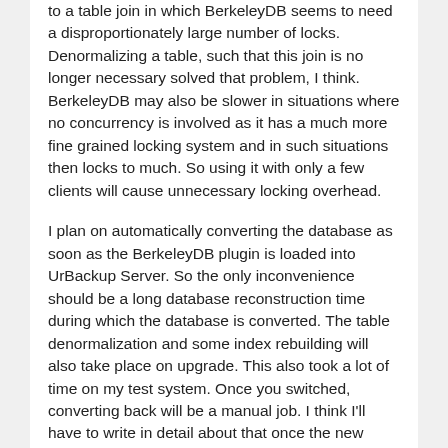to a table join in which BerkeleyDB seems to need a disproportionately large number of locks. Denormalizing a table, such that this join is no longer necessary solved that problem, I think. BerkeleyDB may also be slower in situations where no concurrency is involved as it has a much more fine grained locking system and in such situations then locks to much. So using it with only a few clients will cause unnecessary locking overhead.
I plan on automatically converting the database as soon as the BerkeleyDB plugin is loaded into UrBackup Server. So the only inconvenience should be a long database reconstruction time during which the database is converted. The table denormalization and some index rebuilding will also take place on upgrade. This also took a lot of time on my test system. Once you switched, converting back will be a manual job. I think I'll have to write in detail about that once the new version is released.